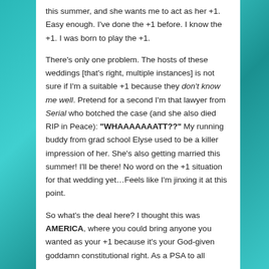this summer, and she wants me to act as her +1. Easy enough. I've done the +1 before. I know the +1. I was born to play the +1.

There's only one problem. The hosts of these weddings [that's right, multiple instances] is not sure if I'm a suitable +1 because they don't know me well. Pretend for a second I'm that lawyer from Serial who botched the case (and she also died RIP in Peace): "WHAAAAAAATT??" My running buddy from grad school Elyse used to be a killer impression of her. She's also getting married this summer! I'll be there! No word on the +1 situation for that wedding yet…Feels like I'm jinxing it at this point.

So what's the deal here? I thought this was AMERICA, where you could bring anyone you wanted as your +1 because it's your God-given goddamn constitutional right. As a PSA to all